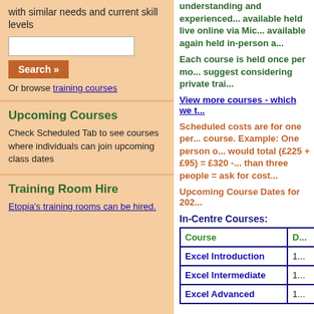with similar needs and current skill levels
Search »
Or browse training courses
Upcoming Courses
Check Scheduled Tab to see courses where individuals can join upcoming class dates
Training Room Hire
Etopia's training rooms can be hired.
understanding and experienced... available held live online via Mic... available again held in-person a...
Each course is held once per mo... suggest considering private trai...
View more courses - which we t...
Scheduled costs are for one per... course. Example: One person o... would total (£225 + £95) = £320 -... than three people = ask for cost...
Upcoming Course Dates for 202...
In-Centre Courses:
| Course | D... |
| --- | --- |
| Excel Introduction | 1... |
| Excel Intermediate | 1... |
| Excel Advanced | 1... |